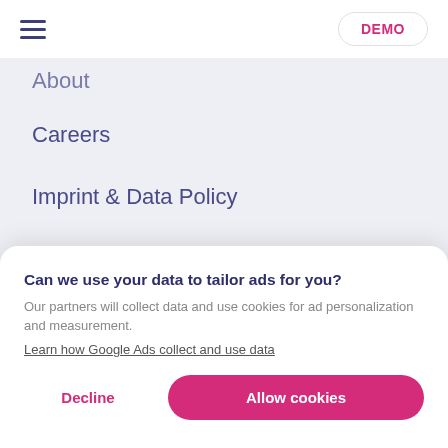DEMO
About
Careers
Imprint & Data Policy
Contact Us
Want to stay in the loop?
Can we use your data to tailor ads for you?
Our partners will collect data and use cookies for ad personalization and measurement.
Learn how Google Ads collect and use data
Decline
Allow cookies